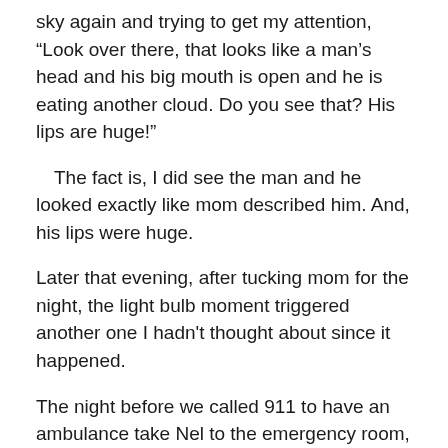sky again and trying to get my attention, “Look over there, that looks like a man’s head and his big mouth is open and he is eating another cloud. Do you see that? His lips are huge!”
The fact is, I did see the man and he looked exactly like mom described him. And, his lips were huge.
Later that evening, after tucking mom for the night, the light bulb moment triggered another one I hadn't thought about since it happened.
The night before we called 911 to have an ambulance take Nel to the emergency room, mom, Nel and I sang, “ This Little Light of Mine.”
And, Nel, who could hardly complete a sentence by this time, clapped her hands and sang every word perfectly in